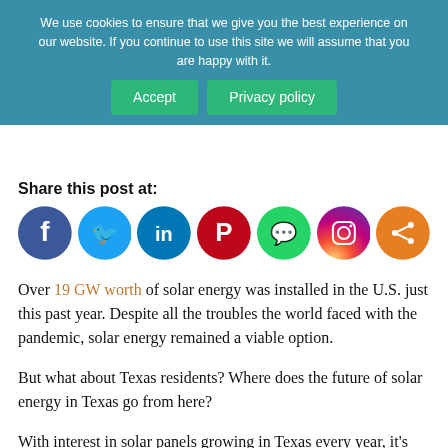We use cookies to ensure that we give you the best experience on our website. If you continue to use this site we will assume that you are happy with it.
Accept | Privacy policy
Share this post at:
[Figure (infographic): Social media sharing icons: Facebook (dark blue), Twitter (light blue), LinkedIn (blue), Pinterest (red), WhatsApp (green), Instagram (gradient purple-orange), Share (orange)]
Over 19 GW worth of solar energy was installed in the U.S. just this past year. Despite all the troubles the world faced with the pandemic, solar energy remained a viable option.
But what about Texas residents? Where does the future of solar energy in Texas go from here?
With interest in solar panels growing in Texas every year, it’s important to acknowledge what consumers can expect from this market. Read on to find out more about solar energy in Texas.